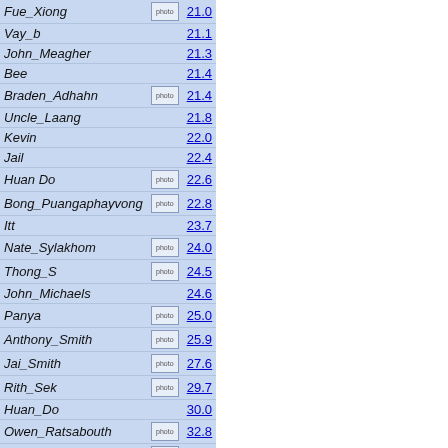| Name |  | Score |
| --- | --- | --- |
| Fue_Xiong | photo | 21.0 |
| Vay_b |  | 21.1 |
| John_Meagher |  | 21.3 |
| Bee |  | 21.4 |
| Braden_Adhahn | photo | 21.4 |
| Uncle_Laang |  | 21.8 |
| Kevin |  | 22.0 |
| Jail |  | 22.4 |
| Huan Do | photo | 22.6 |
| Bong_Puangaphayvong | photo | 22.8 |
| Itt |  | 23.7 |
| Nate_Sylakhom | photo | 24.0 |
| Thong_S | photo | 24.5 |
| John_Michaels |  | 24.6 |
| Panya | photo | 25.0 |
| Anthony_Smith | photo | 25.9 |
| Jai_Smith | photo | 27.6 |
| Rith_Sek | photo | 29.7 |
| Huan_Do |  | 30.0 |
| Owen_Ratsabouth | photo | 32.8 |
| Tom_M | photo | 36.4 |
| Lai_S | photo | 36.4 |
0 active, 98 total